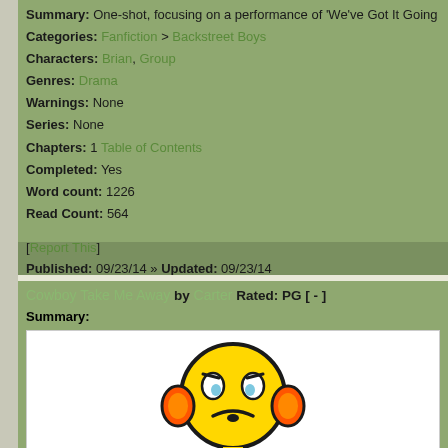Summary: One-shot, focusing on a performance of 'We've Got It Going On
Categories: Fanfiction > Backstreet Boys
Characters: Brian, Group
Genres: Drama
Warnings: None
Series: None
Chapters: 1 Table of Contents
Completed: Yes
Word count: 1226
Read Count: 564
[Report This]
Published: 09/23/14 » Updated: 09/23/14
Cowboy Take Me Away by Carter Rated: PG [ - ]
Summary:
[Figure (illustration): A worried/sad yellow smiley face emoji character with orange headphone-like ears, blue tears under eyes, frowning mouth, and blue shoes, on white background]